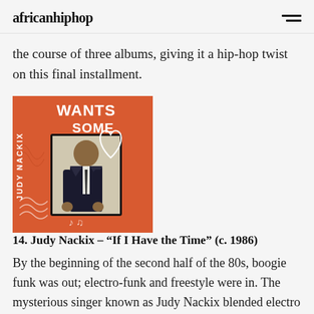africanhiphop
the course of three albums, giving it a hip-hop twist on this final installment.
[Figure (photo): Album cover with orange background featuring a man in a suit, text reading 'WANTS SOMEBODY' at the top]
14. Judy Nackix – "If I Have the Time" (c. 1986)
By the beginning of the second half of the 80s, boogie funk was out; electro-funk and freestyle were in. The mysterious singer known as Judy Nackix blended electro sounds with Igbo folk melodies on his sole LP